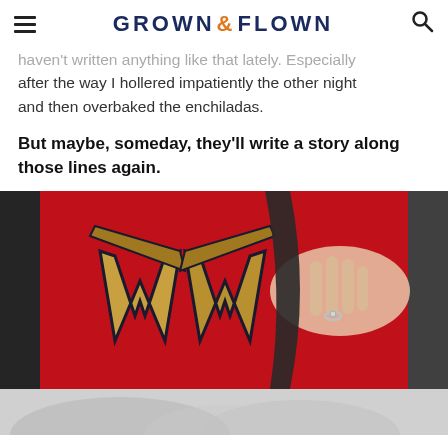GROWN & FLOWN
haven't written anything like that lately. Especially after the way I hollered impatiently the other night and then overbaked the enchiladas.
But maybe, someday, they'll write a story along those lines again.
[Figure (photo): A person wearing a red Wonder Woman t-shirt, pulling open a dark jacket to reveal the gold and dark Wonder Woman logo on the shirt. The person is wearing a ring on their finger.]
[Figure (photo): Partial view of a grey/white textured surface at the bottom of the page.]